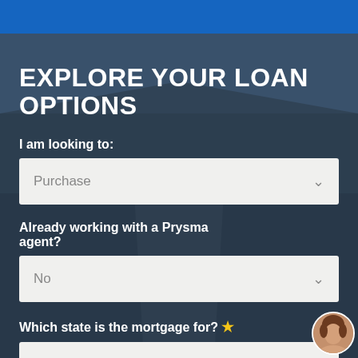EXPLORE YOUR LOAN OPTIONS
I am looking to:
Purchase
Already working with a Prysma agent?
No
Which state is the mortgage for? *
Connecticut